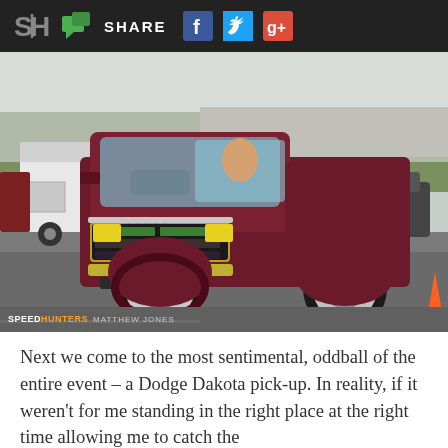SHARE
[Figure (photo): A maroon/dark red Dodge Dakota pickup truck with a large engine scoop on the hood, photographed at what appears to be a motorsport event or drag strip. A white van and other vehicles are visible in the background. The Speedhunters watermark with photographer Matthew Jones is in the lower left corner.]
SPEEDHUNTERS MATTHEW JONES
Next we come to the most sentimental, oddball of the entire event – a Dodge Dakota pick-up. In reality, if it weren't for me standing in the right place at the right time allowing me to catch the